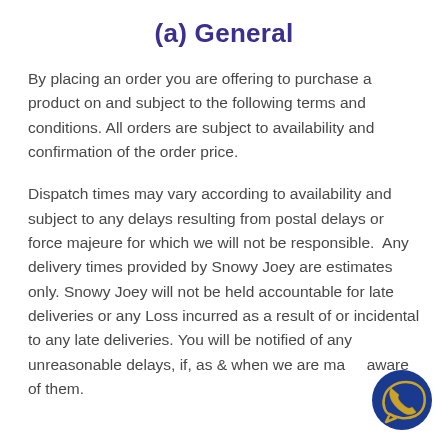(a) General
By placing an order you are offering to purchase a product on and subject to the following terms and conditions. All orders are subject to availability and confirmation of the order price.
Dispatch times may vary according to availability and subject to any delays resulting from postal delays or force majeure for which we will not be responsible.  Any delivery times provided by Snowy Joey are estimates only. Snowy Joey will not be held accountable for late deliveries or any Loss incurred as a result of or incidental to any late deliveries. You will be notified of any unreasonable delays, if, as & when we are made aware of them.
[Figure (illustration): WhatsApp chat button icon — dark blue circle with a gold WhatsApp phone handset logo, positioned at bottom right of page.]